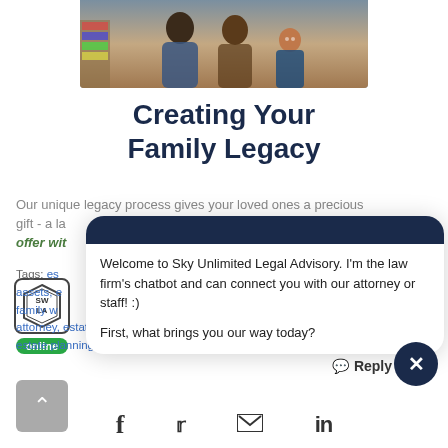[Figure (photo): Family photo showing adults and a child sitting on a couch, smiling]
Creating Your Family Legacy
Our unique legacy process gives your loved ones a precious gift - a la... offer wit...
[Figure (screenshot): Chatbot popup from Sky Unlimited Legal Advisory with dark navy header and message: 'Welcome to Sky Unlimited Legal Advisory. I'm the law firm's chatbot and can connect you with our attorney or staff! :)' followed by 'First, what brings you our way today?' with a Reply button and close (X) button]
[Figure (logo): Sky Unlimited Legal Advisory hexagonal logo with SWLA letters and online badge]
Tags: estate planning, assets, estates, family wealth, attorney, estates, california estate planning, DIY estate plan, estate planning mistakes